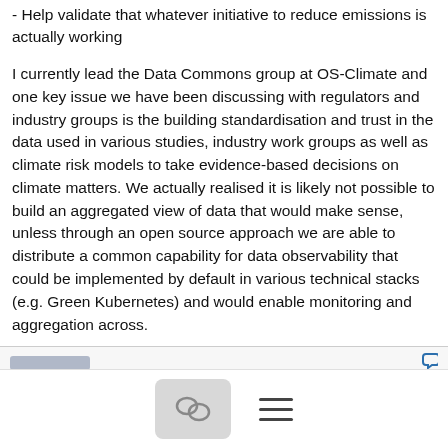- Help validate that whatever initiative to reduce emissions is actually working
I currently lead the Data Commons group at OS-Climate and one key issue we have been discussing with regulators and industry groups is the building standardisation and trust in the data used in various studies, industry work groups as well as climate risk models to take evidence-based decisions on climate matters. We actually realised it is likely not possible to build an aggregated view of data that would make sense, unless through an open source approach we are able to distribute a common capability for data observability that could be implemented by default in various technical stacks (e.g. Green Kubernetes) and would enable monitoring and aggregation across.
≡ More
Re: Questions on OpenEBS Incubation Proposal